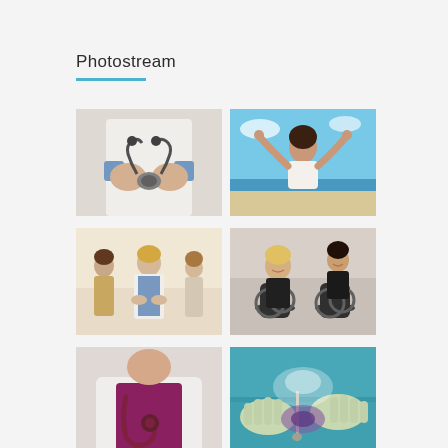Photostream
[Figure (photo): Close-up of doctor's hands holding a stethoscope, wearing a white coat]
[Figure (photo): Young woman on a beach with arms raised in joy, wearing white top, blue sky and ocean in background]
[Figure (photo): Female doctor in white coat consulting with patients/family members in a clinical setting]
[Figure (photo): People exercising on stationary bikes in a gym, smiling woman in foreground]
[Figure (photo): Female healthcare professional in white coat with a stethoscope, wearing purple/magenta top]
[Figure (photo): Medical procedure/surgery close-up with gloved hands and medical instruments]